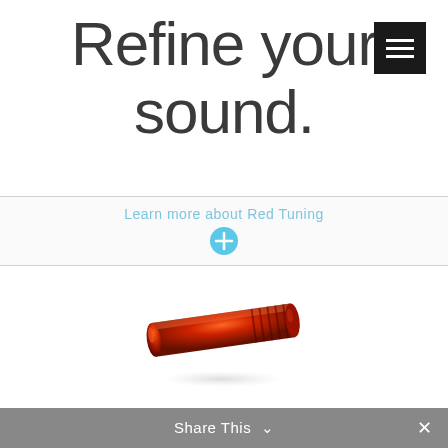Refine your sound.
[Figure (illustration): Black square hamburger/menu icon with three white horizontal lines]
Learn more about Red Tuning
[Figure (illustration): Cyan/blue circle with a white plus (+) symbol in the center]
[Figure (photo): A red anodized aluminum cylindrical audio tuning component (Red Tuning piece) with grooved threading on one end, photographed on white background at an angle]
Share This ✓  ✕